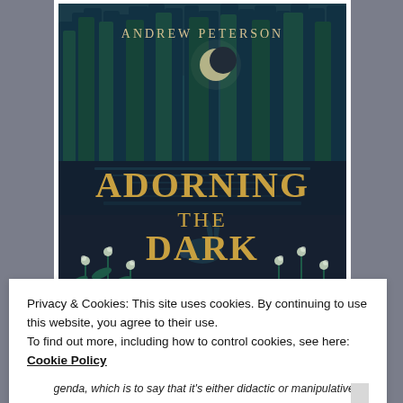[Figure (illustration): Book cover of 'Adorning the Dark' by Andrew Peterson. Dark navy blue cover with illustrated forest scene, crescent moon, trees, flowers, and a rabbit. Title in gold/amber text reading 'ADORNING THE DARK'. Subtitle reads 'Thoughts on Community, Calling and the Mystery of Making'.]
Privacy & Cookies: This site uses cookies. By continuing to use this website, you agree to their use.
To find out more, including how to control cookies, see here: Cookie Policy
Close and accept
agenda, which is to say that it's either didactic or manipulative,